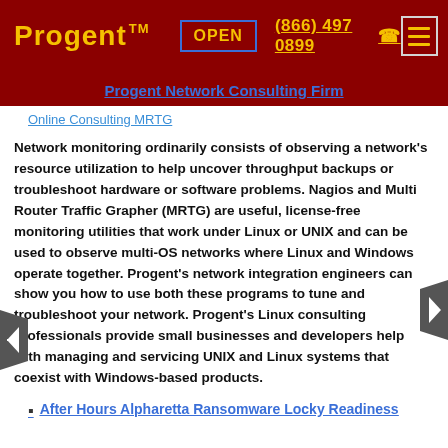Progent™   OPEN   (866) 497 0899   ☎
Progent Network Consulting Firm
Online Consulting MRTG
Network monitoring ordinarily consists of observing a network's resource utilization to help uncover throughput backups or troubleshoot hardware or software problems. Nagios and Multi Router Traffic Grapher (MRTG) are useful, license-free monitoring utilities that work under Linux or UNIX and can be used to observe multi-OS networks where Linux and Windows operate together. Progent's network integration engineers can show you how to use both these programs to tune and troubleshoot your network. Progent's Linux consulting professionals provide small businesses and developers help with managing and servicing UNIX and Linux systems that coexist with Windows-based products.
After Hours Alpharetta Ransomware Locky Readiness